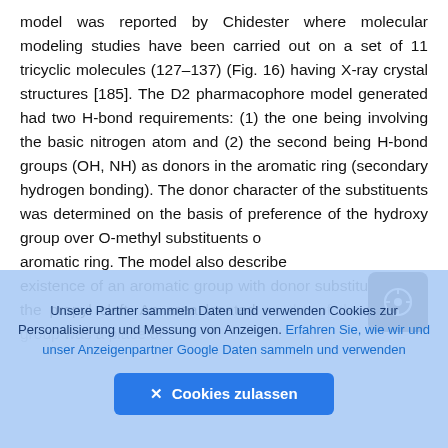model was reported by Chidester where molecular modeling studies have been carried out on a set of 11 tricyclic molecules (127–137) (Fig. 16) having X-ray crystal structures [185]. The D2 pharmacophore model generated had two H-bond requirements: (1) the one being involving the basic nitrogen atom and (2) the second being H-bond groups (OH, NH) as donors in the aromatic ring (secondary hydrogen bonding). The donor character of the substituents was determined on the basis of preference of the hydroxy group over O-methyl substituents of the aromatic ring. The model also described the existence of an aromatic group with donor substituents and the propyl cleft. An area located on the of the aromatic group was a place of
[Figure (other): Navigation button UI element: dark rounded square button with a circled arrow/compass icon in white]
Unsere Partner sammeln Daten und verwenden Cookies zur Personalisierung und Messung von Anzeigen. Erfahren Sie, wie wir und unser Anzeigenpartner Google Daten sammeln und verwenden
✕ Cookies zulassen